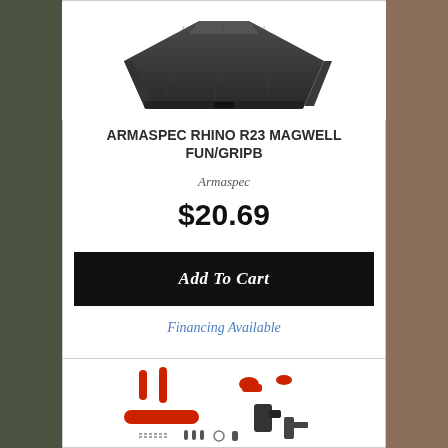[Figure (photo): Dark gray Armaspec Rhino R23 Magwell product photo on white background]
ARMASPEC RHINO R23 MAGWELL FUN/GRIPB
Armaspec
$20.69
Add To Cart
Financing Available
[Figure (photo): Red and black AR-15 lower parts kit laid out on white background]